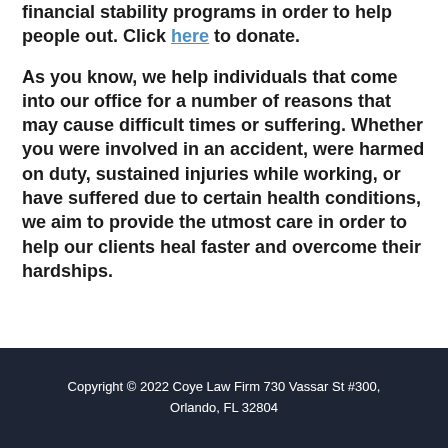financial stability programs in order to help people out. Click here to donate.
As you know, we help individuals that come into our office for a number of reasons that may cause difficult times or suffering. Whether you were involved in an accident, were harmed on duty, sustained injuries while working, or have suffered due to certain health conditions, we aim to provide the utmost care in order to help our clients heal faster and overcome their hardships.
Copyright © 2022 Coye Law Firm 730 Vassar St #300, Orlando, FL 32804